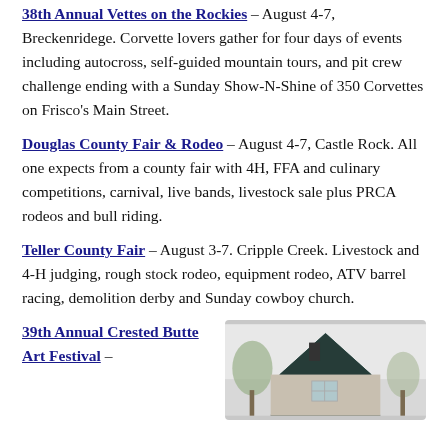38th Annual Vettes on the Rockies – August 4-7, Breckenridege. Corvette lovers gather for four days of events including autocross, self-guided mountain tours, and pit crew challenge ending with a Sunday Show-N-Shine of 350 Corvettes on Frisco's Main Street.
Douglas County Fair & Rodeo – August 4-7, Castle Rock. All one expects from a county fair with 4H, FFA and culinary competitions, carnival, live bands, livestock sale plus PRCA rodeos and bull riding.
Teller County Fair – August 3-7. Cripple Creek. Livestock and 4-H judging, rough stock rodeo, equipment rodeo, ATV barrel racing, demolition derby and Sunday cowboy church.
39th Annual Crested Butte Art Festival –
[Figure (photo): Partial view of a building rooftop/peak with trees in background, gray sky]